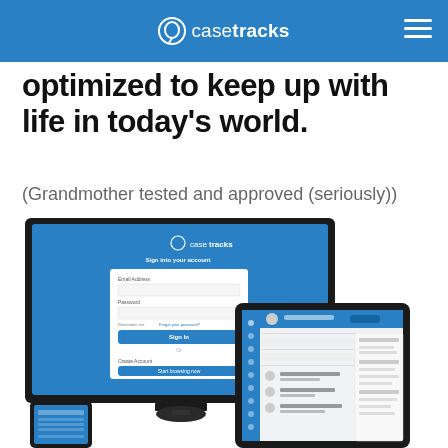casetracks
optimized to keep up with life in today's world.
(Grandmother tested and approved (seriously))
[Figure (screenshot): Screenshot of CaseTracks application shown on a desktop monitor, tablet, and mobile phone. The desktop shows a login screen with 'Sign into your account' form. The tablet shows a case management dashboard interface.]